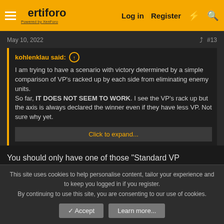Vertiforo | Log in | Register
May 10, 2022 #13
kohlenklau said: ↑

I am trying to have a scenario with victory determined by a simple comparison of VP's racked up by each side from eliminating enemy units.
So far, IT DOES NOT SEEM TO WORK. I see the VP's rack up but the axis is always declared the winner even if they have less VP. Not sure why yet.

Click to expand...
You should only have one of those "Standard VP
This site uses cookies to help personalise content, tailor your experience and to keep you logged in if you register.
By continuing to use this site, you are consenting to our use of cookies.
✓ Accept   Learn more...